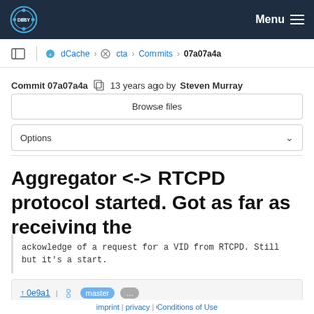DESY Menu
dCache > cta > Commits > 07a07a4a
Commit 07a07a4a  13 years ago by Steven Murray
Browse files
Options
Aggregator <-> RTCPD protocol started. Got as far as receiving the
ackowledge of a request for a VID from RTCPD.  Still
but it's a start.
imprint | privacy | Conditions of Use